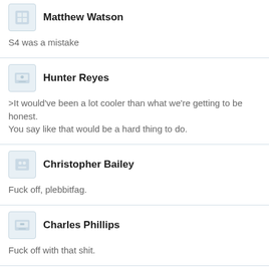Matthew Watson
S4 was a mistake
Hunter Reyes
>It would've been a lot cooler than what we're getting to be honest.
You say like that would be a hard thing to do.
Christopher Bailey
Fuck off, plebbitfag.
Charles Phillips
Fuck off with that shit.
Dylan Jones